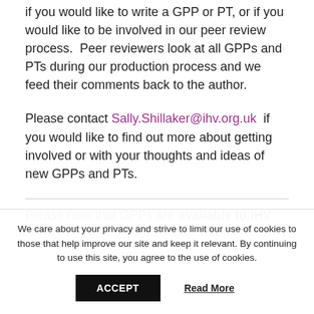if you would like to write a GPP or PT, or if you would like to be involved in our peer review process.  Peer reviewers look at all GPPs and PTs during our production process and we feed their comments back to the author.
Please contact Sally.Shillaker@ihv.org.uk if you would like to find out more about getting involved or with your thoughts and ideas of new GPPs and PTs.
Please note that GPPs are available to iHV
We care about your privacy and strive to limit our use of cookies to those that help improve our site and keep it relevant. By continuing to use this site, you agree to the use of cookies.